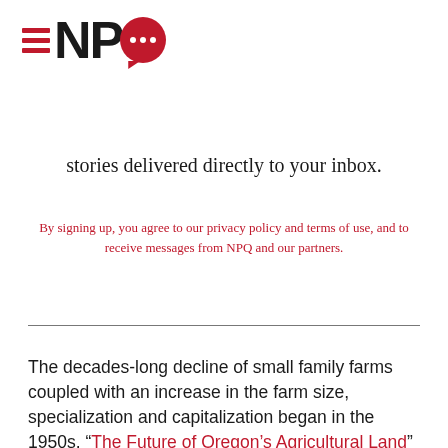[Figure (logo): NPQ logo with hamburger menu icon (three red horizontal lines) on the left, 'NP' in black bold sans-serif, and a red speech bubble with three white dots forming the 'Q']
stories delivered directly to your inbox.
By signing up, you agree to our privacy policy and terms of use, and to receive messages from NPQ and our partners.
The decades-long decline of small family farms coupled with an increase in the farm size, specialization and capitalization began in the 1950s. “The Future of Oregon’s Agricultural Land” updates this trend in Oregon. From 2010 through 2015, almost 40 percent of farmland sales in several Oregon counties were to business entities. Nearly 15 percent of farm sales in those counties involved out-of-state b…